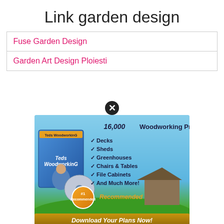Link garden design
Fuse Garden Design
Garden Art Design Ploiesti
[Figure (illustration): Advertisement popup for '16,000 Woodworking Projects' (Ted's Woodworking) with a product box image, list of project types (Decks, Sheds, Greenhouses, Chairs & Tables, File Cabinets, And Much More!), a #1 Recommended badge, and a 'Download Your Plans Now!' button. Has a close X button at top.]
Dm… ight
Ny… y.id
IowaJo… u.my.id
https://ciz… spot.com/